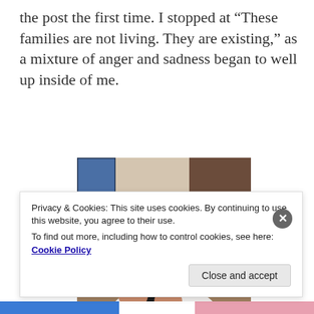the post the first time. I stopped at “These families are not living. They are existing,” as a mixture of anger and sadness began to well up inside of me.
[Figure (photo): A young boy with short brown hair looking at the camera with a slight smile, holding something dark and round up near his face with both hands. Indoor setting with window visible in background.]
Privacy & Cookies: This site uses cookies. By continuing to use this website, you agree to their use.
To find out more, including how to control cookies, see here: Cookie Policy
Close and accept